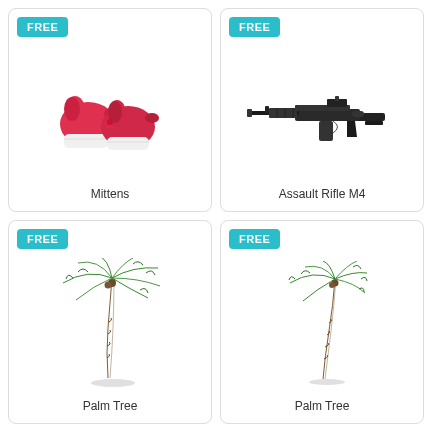[Figure (illustration): Red boxing mittens / winter mittens product image on white background]
Mittens
[Figure (illustration): Black assault rifle M4 product image on white background]
Assault Rifle M4
[Figure (illustration): Tropical palm tree 3D render on white background (large)]
Palm Tree
[Figure (illustration): Tropical palm tree 3D render on white background (smaller)]
Palm Tree